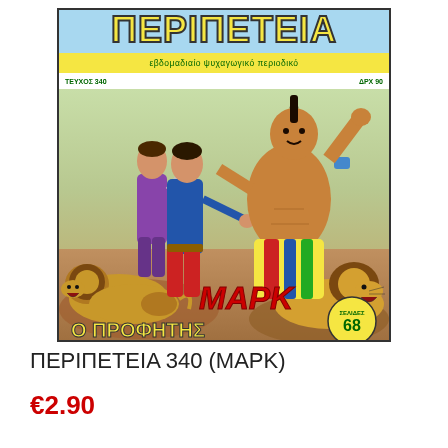[Figure (illustration): Cover of Greek comic book ΠΕΡΙΠΕΤΕΙΑ issue 340 featuring ΜΑΡΚ (MARK). Shows action scene with two heroes fighting a large muscular warrior, lions in foreground. Yellow background with blue sky top bar. Title ΠΕΡΙΠΕΤΕΙΑ in yellow letters at top, subtitle 'εβδομαδιαίο ψυχαγωγικό περιοδικό', issue number ΤΕΥΧΟΣ 340, price ΔΡΧ 90. ΜΑΡΚ in red italic letters, Ο ΠΡΟΦΗΤΗΣ in yellow letters, badge showing ΣΕΛΙΔΕΣ 68.]
ΠΕΡΙΠΕΤΕΙΑ 340 (ΜΑΡΚ)
€2.90